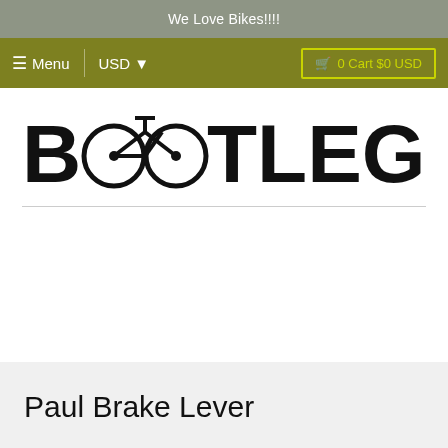We Love Bikes!!!!
≡ Menu  USD ▾  🛒 0 Cart $0 USD
[Figure (logo): Bootlegger Bikes logo with large bold text and a bicycle icon integrated into the letters]
Paul Brake Lever